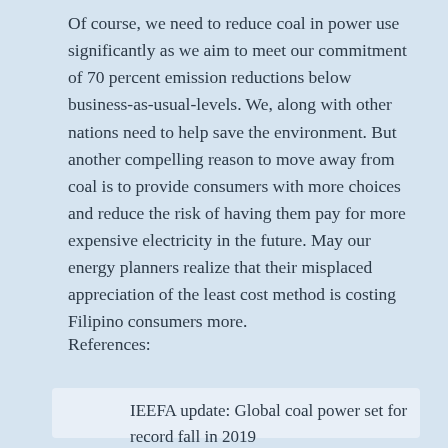Of course, we need to reduce coal in power use significantly as we aim to meet our commitment of 70 percent emission reductions below business-as-usual-levels. We, along with other nations need to help save the environment. But another compelling reason to move away from coal is to provide consumers with more choices and reduce the risk of having them pay for more expensive electricity in the future. May our energy planners realize that their misplaced appreciation of the least cost method is costing Filipino consumers more.
References:
IEEFA update: Global coal power set for record fall in 2019